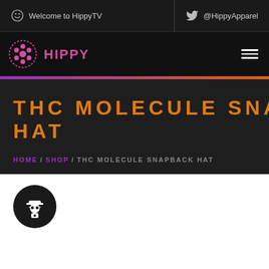Welcome to HippyTV | @HippyApparel
[Figure (logo): Hippy brand logo with circular gear/flower icon and HIPPY text in pink/purple]
THC MOLECULE SNAPBACK HAT
HOME / SHOP / THC MOLECULE SNAPBACK HAT
[Figure (illustration): Black circular icon with white spy/detective figure wearing hat and holding bag]